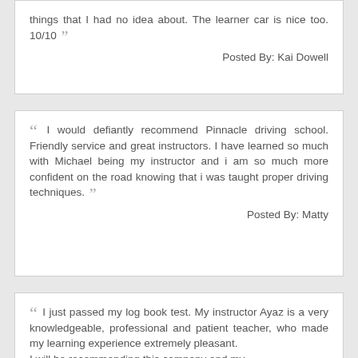things that I had no idea about. The learner car is nice too. 10/10
Posted By: Kai Dowell
I would defiantly recommend Pinnacle driving school. Friendly service and great instructors. I have learned so much with Michael being my instructor and i am so much more confident on the road knowing that i was taught proper driving techniques.
Posted By: Matty
I just passed my log book test. My instructor Ayaz is a very knowledgeable, professional and patient teacher, who made my learning experience extremely pleasant. I will be recommending this company and my